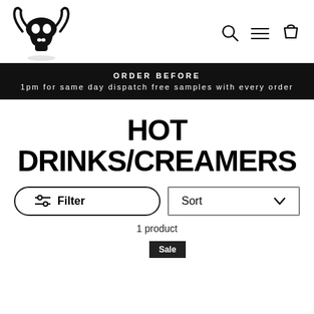[Figure (logo): Bull skull logo mark in black on white background]
ORDER BEFORE
1pm for same day dispatch free samples with every order
HOT DRINKS/CREAMERS
Filter
Sort
1 product
Sale